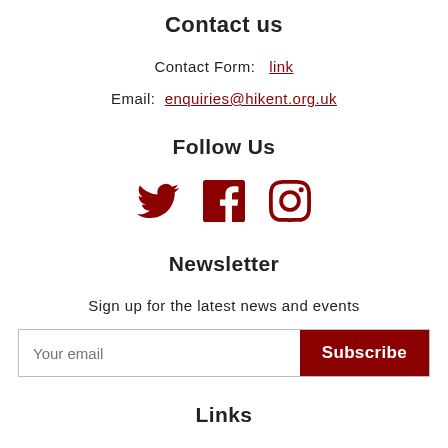Contact us
Contact Form:  link
Email:  enquiries@hikent.org.uk
Follow Us
[Figure (illustration): Social media icons: Twitter bird, Facebook f, Instagram camera — all in dark red]
Newsletter
Sign up for the latest news and events
Your email  [Subscribe button]
Links
Terms & Conditions